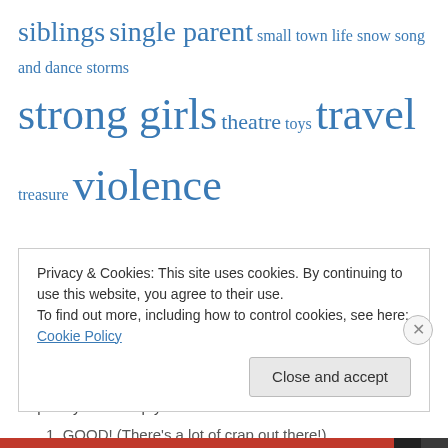siblings single parent small town life snow song and dance storms strong girls theatre toys travel treasure violence war weather wilderness survival winter witches
Welcome!
This blog is intended to provide information for parents (especially parents of preschoolers) on media for children. Hopefully it will help you find movies and books that are:
1. GOOD! (There's a lot of crap out there!)
Privacy & Cookies: This site uses cookies. By continuing to use this website, you agree to their use. To find out more, including how to control cookies, see here: Cookie Policy
Close and accept